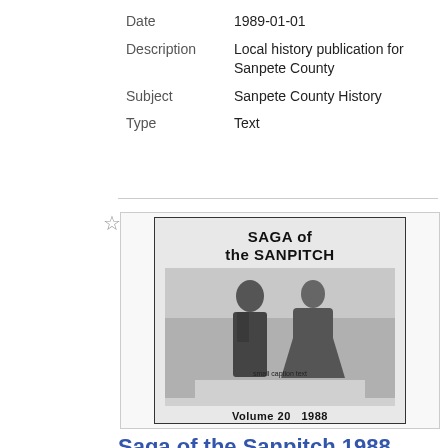| Date | 1989-01-01 |
| Description | Local history publication for Sanpete County |
| Subject | Sanpete County History |
| Type | Text |
[Figure (photo): Book cover of 'Saga of the Sanpitch' Volume 20, 1988, showing a black and white photograph of a man and woman in period clothing.]
Saga of the Sanpitch 1988